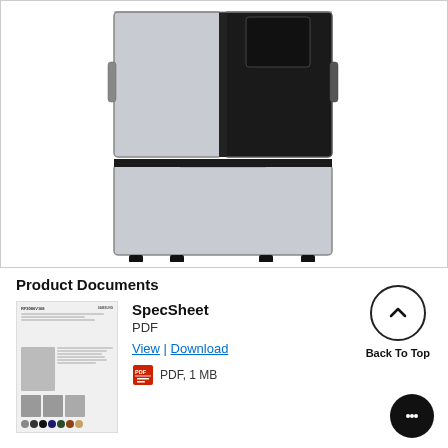[Figure (photo): Front view of a Samsung French door refrigerator with silver/stainless steel finish on the left door and bottom drawer, and a black glass panel on the right door with a built-in screen/display. The appliance sits on black feet.]
Product Documents
[Figure (photo): Thumbnail preview of the SpecSheet PDF document showing product images of the refrigerator and color swatches at the bottom.]
SpecSheet
PDF
View | Download
PDF, 1 MB